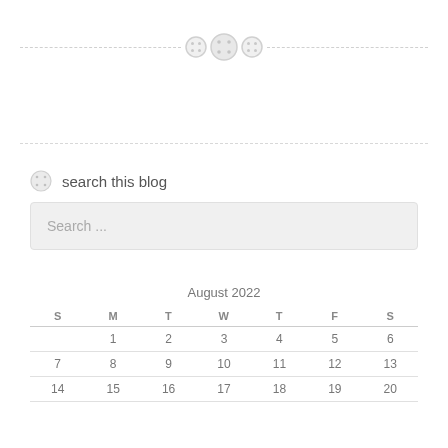[Figure (illustration): Decorative divider with three button icons and dashed lines on either side]
search this blog
Search ...
| S | M | T | W | T | F | S |
| --- | --- | --- | --- | --- | --- | --- |
|  | 1 | 2 | 3 | 4 | 5 | 6 |
| 7 | 8 | 9 | 10 | 11 | 12 | 13 |
| 14 | 15 | 16 | 17 | 18 | 19 | 20 |